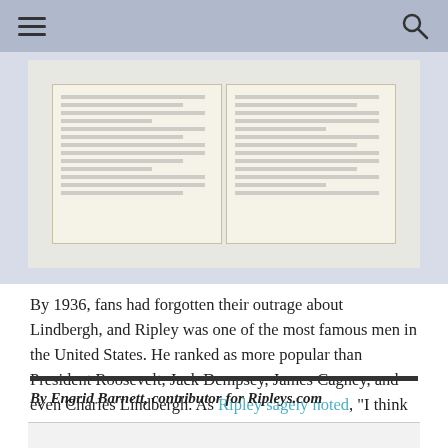[Figure (photo): Open book/scrapbook showing two pages with handwritten or printed text, photographed against a light gray background.]
By 1936, fans had forgotten their outrage about Lindbergh, and Ripley was one of the most famous men in the United States. He ranked as more popular than President Roosevelt, Jack Dempsey, James Cagney, and even Charles Lindbergh. As Ripley sagely noted, “I think mine is the only business in which the customer is never right.”
By Engrid Barnett, contributor for Ripleys.com